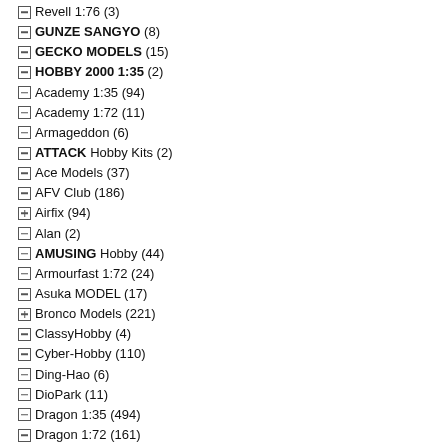Revell 1:76 (3)
GUNZE SANGYO (8)
GECKO MODELS (15)
HOBBY 2000 1:35 (2)
Academy 1:35 (94)
Academy 1:72 (11)
Armageddon (6)
ATTACK Hobby Kits (2)
Ace Models (37)
AFV Club (186)
Airfix (94)
Alan (2)
AMUSING Hobby (44)
Armourfast 1:72 (24)
Asuka MODEL (17)
Bronco Models (221)
ClassyHobby (4)
Cyber-Hobby (110)
Ding-Hao (6)
DioPark (11)
Dragon 1:35 (494)
Dragon 1:72 (161)
Dragon 1:6 (13)
Emhar (9)
FineMolds (32)
First to Fight (77)